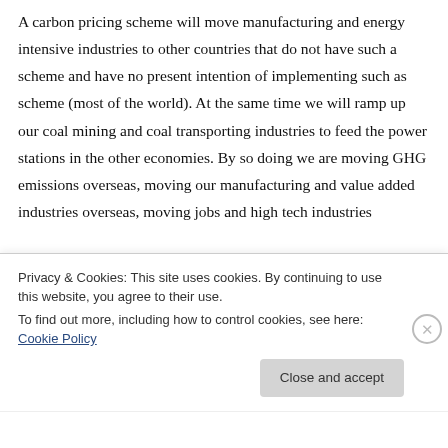A carbon pricing scheme will move manufacturing and energy intensive industries to other countries that do not have such a scheme and have no present intention of implementing such as scheme (most of the world). At the same time we will ramp up our coal mining and coal transporting industries to feed the power stations in the other economies. By so doing we are moving GHG emissions overseas, moving our manufacturing and value added industries overseas, moving jobs and high tech industries
Privacy & Cookies: This site uses cookies. By continuing to use this website, you agree to their use.
To find out more, including how to control cookies, see here: Cookie Policy